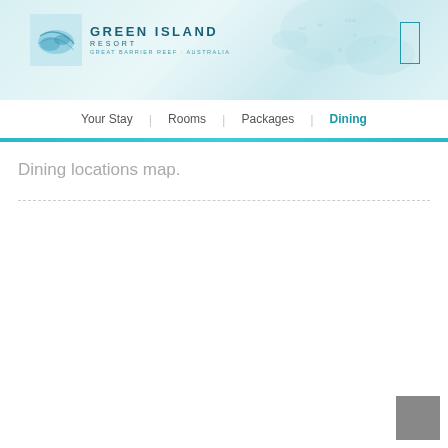[Figure (screenshot): Green Island Resort website header with logo showing teal/aqua watercolor background with map overlay. Logo includes a square icon with teal reef imagery, text 'GREEN ISLAND RESORT' and tagline 'GREAT BARRIER REEF · AUSTRALIA'. A thin rectangular icon is on the upper right.]
Your Stay | Rooms | Packages | Dining
Dining locations map.
[Figure (other): Small grey square button in bottom-right corner of page]